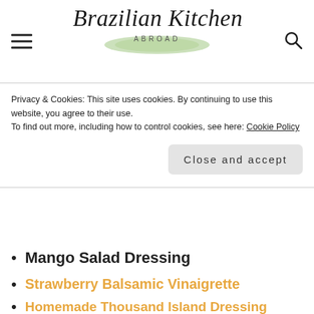Brazilian Kitchen Abroad
Privacy & Cookies: This site uses cookies. By continuing to use this website, you agree to their use.
To find out more, including how to control cookies, see here: Cookie Policy
Close and accept
Mango Salad Dressing
Strawberry Balsamic Vinaigrette
Homemade Thousand Island Dressing